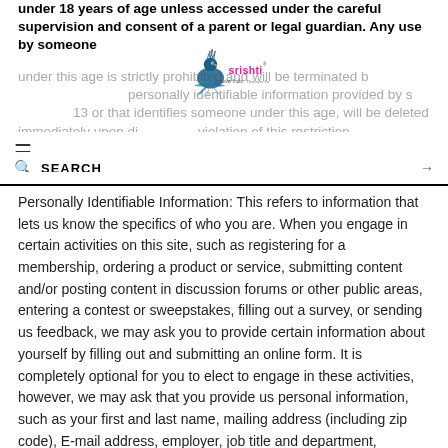under 18 years of age unless accessed under the careful supervision and consent of a parent or legal guardian. Any use by someone under this age is strictly prohibited and will be terminated immediately upon discovery. personally identifiable information provided by someone under 13 or that identifies someone under this age, will be deleted immediately upon discovery or violation of this restriction.
[Figure (logo): Srishti Discover India logo with peacock illustration]
Personally Identifiable Information: This refers to information that lets us know the specifics of who you are. When you engage in certain activities on this site, such as registering for a membership, ordering a product or service, submitting content and/or posting content in discussion forums or other public areas, entering a contest or sweepstakes, filling out a survey, or sending us feedback, we may ask you to provide certain information about yourself by filling out and submitting an online form. It is completely optional for you to elect to engage in these activities, however, we may ask that you provide us personal information, such as your first and last name, mailing address (including zip code), E-mail address, employer, job title and department, telephone and facsimile numbers, and other personally-identifying information. When